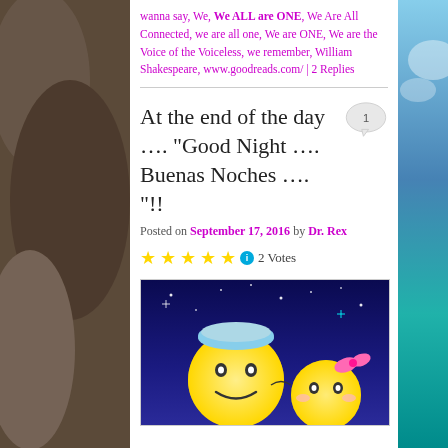wanna say, We, We ALL are ONE, We Are All Connected, we are all one, We are ONE, We are the Voice of the Voiceless, we remember, William Shakespeare, www.goodreads.com/ | 2 Replies
At the end of the day …. “Good Night …. Buenas Noches …. “!!
Posted on September 17, 2016 by Dr. Rex
★★★★★ ℹ 2 Votes
[Figure (illustration): Cartoon illustration of two smiling moon emoji faces on a dark blue night sky with stars. The larger moon face on the left wears a light blue sleeping cap, and a smaller moon face on the right has pink blush marks and a pink bow. They appear to be kissing or nuzzling.]